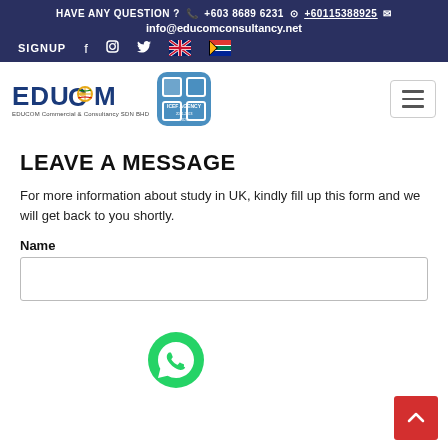HAVE ANY QUESTION ? +603 8689 6231 +60115388925 info@educomconsultancy.net SIGNUP
[Figure (logo): EDUCOM Commercial & Consultancy SDN BHD logo with ICEF Agency badge]
LEAVE A MESSAGE
For more information about study in UK, kindly fill up this form and we will get back to you shortly.
Name
[Figure (illustration): WhatsApp floating button (green circle with phone handset icon)]
[Figure (illustration): Red scroll-to-top button with upward chevron arrow]